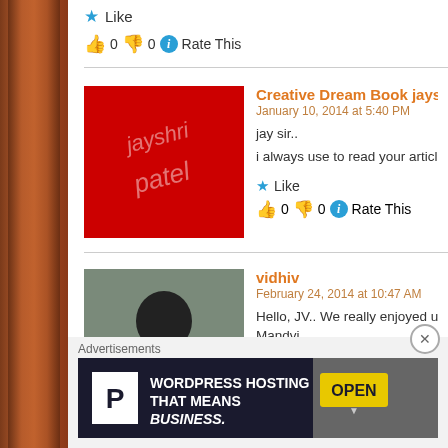Like
👍 0 👎 0 ℹ Rate This
Creative Dream Book jayshri patel
January 10, 2014 at 5:40 PM
jay sir..
i always use to read your articles which is placed in "Ravi p
Like
👍 0 👎 0 ℹ Rate This
vidhiv
February 24, 2014 at 10:47 AM
Hello, JV.. We really enjoyed ur lacture in Mandvi. It was to Mandvi..
Like
Advertisements
[Figure (infographic): WordPress Hosting advertisement banner with P logo and text WORDPRESS HOSTING THAT MEANS BUSINESS. with OPEN sign photo on right]